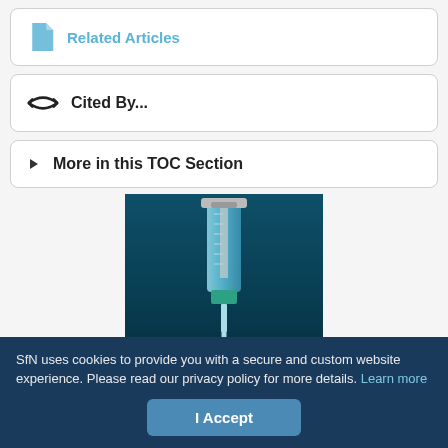Related Articles
Cited By...
More in this TOC Section
[Figure (photo): A medical syringe with tubing against a dark teal background]
SfN uses cookies to provide you with a secure and custom website experience. Please read our privacy policy for more details. Learn more